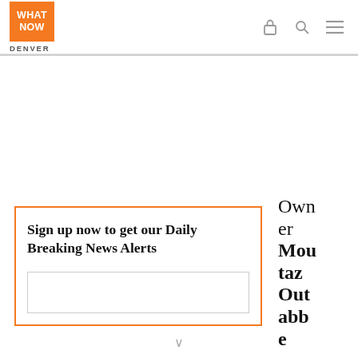[Figure (logo): What Now Denver logo — orange square with WHAT NOW text, DENVER below]
What Now Denver navigation header with lock, search, and menu icons
Sign up now to get our Daily Breaking News Alerts
Owner Moutaz Outabbe